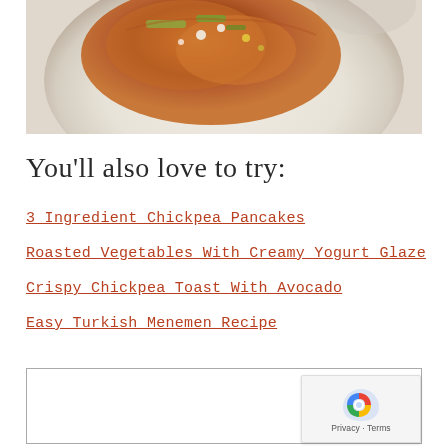[Figure (photo): A food photo showing a crispy dish with colorful toppings served on a white speckled plate, viewed from above.]
You'll also love to try:
3 Ingredient Chickpea Pancakes
Roasted Vegetables With Creamy Yogurt Glaze
Crispy Chickpea Toast With Avocado
Easy Turkish Menemen Recipe
[Figure (other): A bordered box/widget area at the bottom of the page with a reCAPTCHA badge in the bottom right corner.]